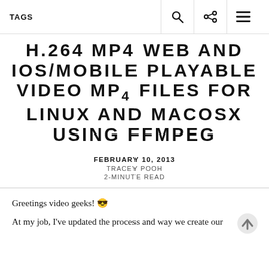TAGS
H.264 MP4 WEB AND IOS/MOBILE PLAYABLE VIDEO MP4 FILES FOR LINUX AND MACOSX USING FFMPEG
FEBRUARY 10, 2013
TRACEY POOH
2-MINUTE READ
Greetings video geeks! 😎
At my job, I've updated the process and way we create our